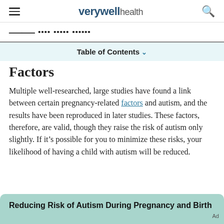verywell health
Factors
Table of Contents
Multiple well-researched, large studies have found a link between certain pregnancy-related factors and autism, and the results have been reproduced in later studies. These factors, therefore, are valid, though they raise the risk of autism only slightly. If it’s possible for you to minimize these risks, your likelihood of having a child with autism will be reduced.
Reducing Risk of Autism During Pregnancy and Birth